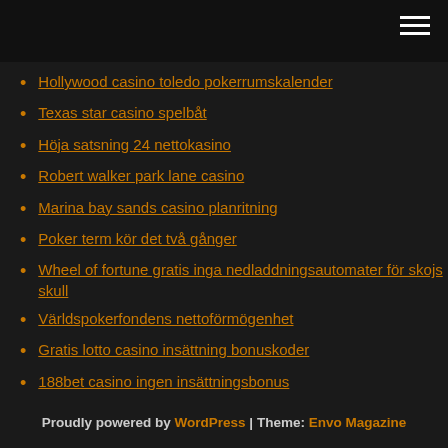Hollywood casino toledo pokerrumskalender
Texas star casino spelbåt
Höja satsning 24 nettokasino
Robert walker park lane casino
Marina bay sands casino planritning
Poker term kör det två gånger
Wheel of fortune gratis inga nedladdningsautomater för skojs skull
Världspokerfondens nettoförmögenhet
Gratis lotto casino insättning bonuskoder
188bet casino ingen insättningsbonus
Proudly powered by WordPress | Theme: Envo Magazine